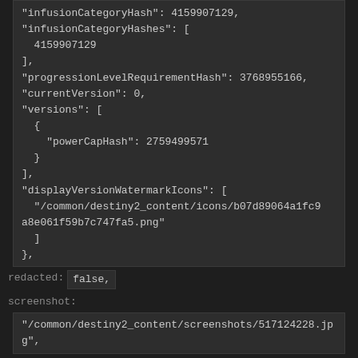"infusionCategoryHash": 4159907129,
"infusionCategoryHashes": [
  4159907129
],
"progressionLevelRequirementHash": 3768955166,
"currentVersion": 0,
"versions": [
  {
    "powerCapHash": 2759499571
  }
],
"displayVersionWatermarkIcons": [
  "/common/destiny2_content/icons/b07d89064a1fc9a8e061f59b7c747fa5.png"
]
},
redacted:  false,
screenshot:
"/common/destiny2_content/screenshots/517124228.jpg",
sockets:
{
  "detail": "Details",
  "socketEntries": [
    {
      "socketTypeHash": 1718047805,